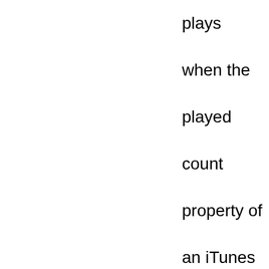plays when the played count property of an iTunes track is changed with AppleScript. If iCloud Music Library or iTunes